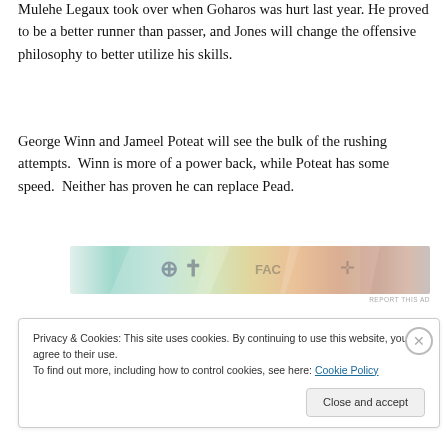Mulehe Legaux took over when Goharos was hurt last year. He proved to be a better runner than passer, and Jones will change the offensive philosophy to better utilize his skills.
George Winn and Jameel Poteat will see the bulk of the rushing attempts.  Winn is more of a power back, while Poteat has some speed.  Neither has proven he can replace Pead.
[Figure (other): Advertisement banner with colorful overlapping card/coupon graphics]
Privacy & Cookies: This site uses cookies. By continuing to use this website, you agree to their use.
To find out more, including how to control cookies, see here: Cookie Policy
Close and accept